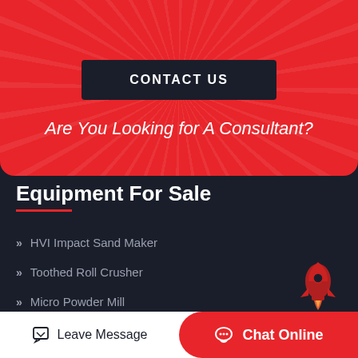CONTACT US
Are You Looking for A Consultant?
Equipment For Sale
HVI Impact Sand Maker
Toothed Roll Crusher
Micro Powder Mill
Leave Message
Chat Online